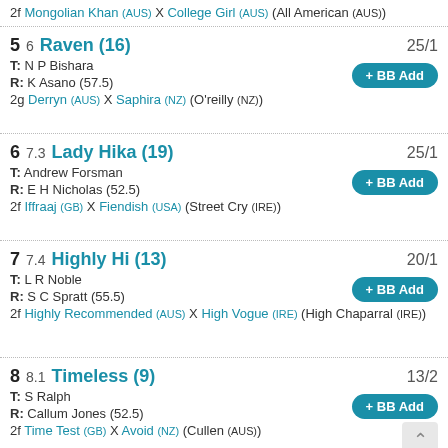2f Mongolian Khan (AUS) X College Girl (AUS) (All American (AUS))
5  6  Raven (16)  25/1  T: N P Bishara  R: K Asano (57.5)  2g Derryn (AUS) X Saphira (NZ) (O'reilly (NZ))
6  7.3  Lady Hika (19)  25/1  T: Andrew Forsman  R: E H Nicholas (52.5)  2f Iffraaj (GB) X Fiendish (USA) (Street Cry (IRE))
7  7.4  Highly Hi (13)  20/1  T: L R Noble  R: S C Spratt (55.5)  2f Highly Recommended (AUS) X High Vogue (IRE) (High Chaparral (IRE))
8  8.1  Timeless (9)  13/2  T: S Ralph  R: Callum Jones (52.5)  2f Time Test (GB) X Avoid (NZ) (Cullen (AUS))
9  9.1  Lippy (4)  15/2